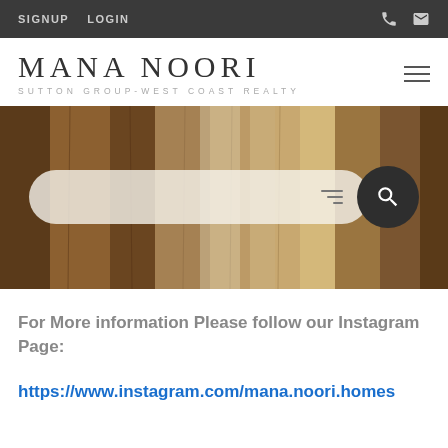SIGNUP   LOGIN
MANA NOORI
SUTTON GROUP-WEST COAST REALTY
[Figure (screenshot): Hero image of wooden door with a search bar overlay containing a filter icon and dark circular search button]
For More information Please follow our Instagram Page:
https://www.instagram.com/mana.noori.homes